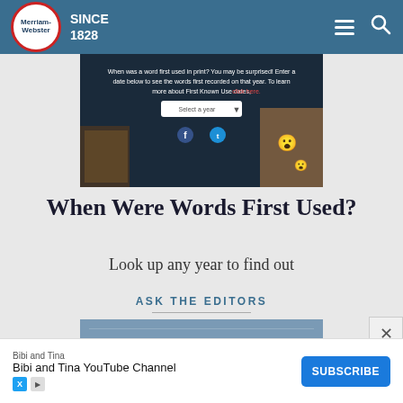Merriam-Webster SINCE 1828
[Figure (screenshot): Merriam-Webster 'When were words first used?' interactive feature with a date selector and social media icons, shown over a collage of photographs]
When Were Words First Used?
Look up any year to find out
ASK THE EDITORS
[Figure (screenshot): Partial image of an Ask the Editors article with a blue/gray background]
Bibi and Tina
Bibi and Tina YouTube Channel
SUBSCRIBE